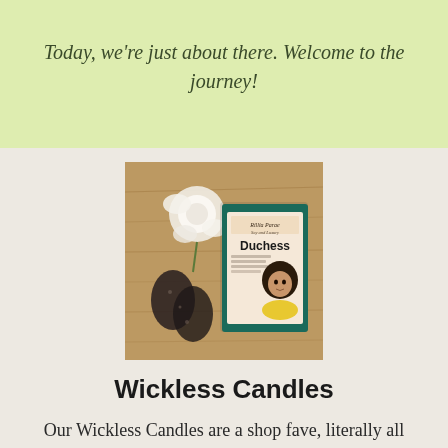Today, we're just about there. Welcome to the journey!
[Figure (photo): Product photo of 'Duchess' wax melt clamshell with a teal label featuring an illustration of a woman with an afro, alongside a white rose and dark sparkly earrings on a wooden surface.]
Wickless Candles
Our Wickless Candles are a shop fave, literally all scents sell out. Heavily scented and long lasting.